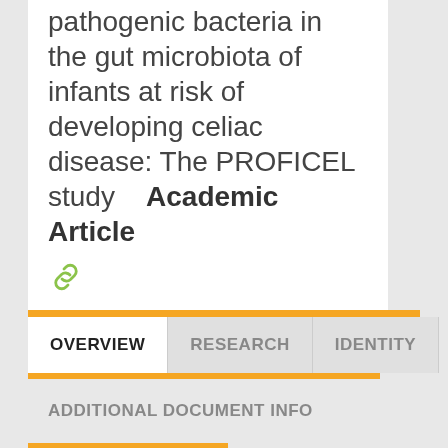pathogenic bacteria in the gut microbiota of infants at risk of developing celiac disease: The PROFICEL study   Academic Article
View record in Web of Science ®
OVERVIEW   RESEARCH   IDENTITY
ADDITIONAL DOCUMENT INFO